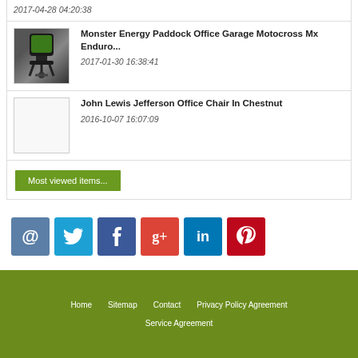2017-04-28 04:20:38
Monster Energy Paddock Office Garage Motocross Mx Enduro...
2017-01-30 16:38:41
John Lewis Jefferson Office Chair In Chestnut
2016-10-07 16:07:09
Most viewed items...
[Figure (other): Social media icons: email (@), Twitter, Facebook, Google+, LinkedIn, Pinterest]
Home | Sitemap | Contact | Privacy Policy Agreement | Service Agreement